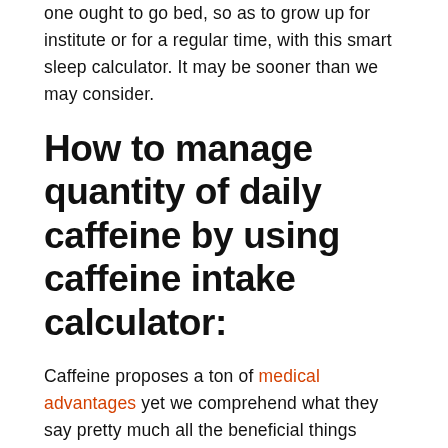one ought to go bed, so as to grow up for institute or for a regular time, with this smart sleep calculator. It may be sooner than we may consider.
How to manage quantity of daily caffeine by using caffeine intake calculator:
Caffeine proposes a ton of medical advantages yet we comprehend what they say pretty much all the beneficial things throughout everyday life. A lot of something worth being thankful for can be an awful thing.
It is not necessarily the case that we should quit devouring it by any stretch of the imagination. Rather than surrendering caffeine, we should begin observing